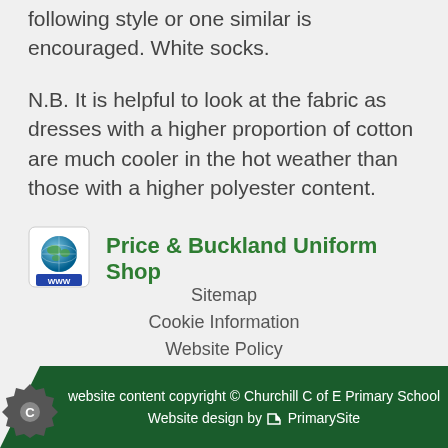following style or one similar is encouraged.  White socks.
N.B. It is helpful to look at the fabric as dresses with a higher proportion of cotton are much cooler in the hot weather than those with a higher polyester content.
Price & Buckland Uniform Shop
Sitemap
Cookie Information
Website Policy
website content copyright © Churchill C of E Primary School
Website design by PrimarySite